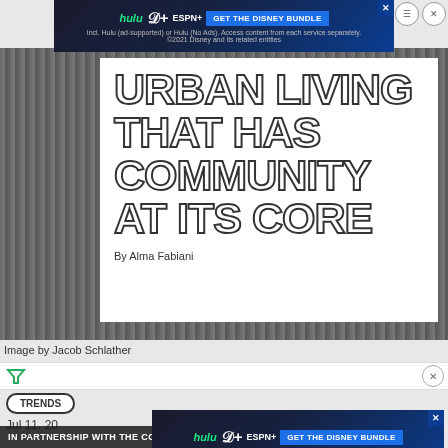[Figure (screenshot): Disney Bundle advertisement banner at top of page showing Hulu, Disney+, ESPN+ logos and 'GET THE DISNEY BUNDLE' CTA button]
URBAN LIVING THAT HAS COMMUNITY AT ITS CORE
By Alma Fabiani
Image by Jacob Schlather
TRENDS
Jul 11, 20
[Figure (screenshot): Second Disney Bundle advertisement banner overlaying bottom portion]
IN PARTNERSHIP WITH THE COLLECTIVE